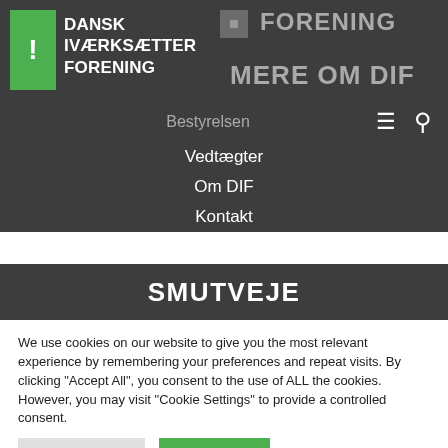[Figure (logo): Dansk Iværksætter Forening logo with green exclamation mark icon and white text on dark grey background]
FORENING
MERE OM DIF
Bestyrelsen
Vedtægter
Om DIF
Kontakt
SMUTVEJE
We use cookies on our website to give you the most relevant experience by remembering your preferences and repeat visits. By clicking "Accept All", you consent to the use of ALL the cookies. However, you may visit "Cookie Settings" to provide a controlled consent.